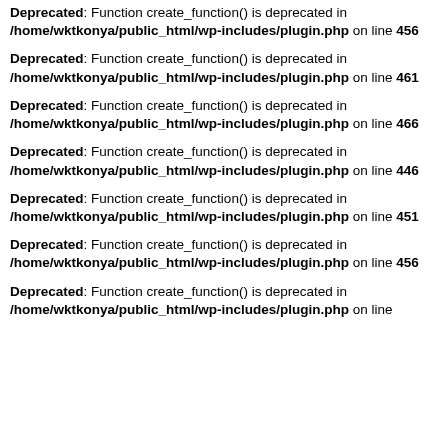Deprecated: Function create_function() is deprecated in /home/wktkonya/public_html/wp-includes/plugin.php on line 456
Deprecated: Function create_function() is deprecated in /home/wktkonya/public_html/wp-includes/plugin.php on line 461
Deprecated: Function create_function() is deprecated in /home/wktkonya/public_html/wp-includes/plugin.php on line 466
Deprecated: Function create_function() is deprecated in /home/wktkonya/public_html/wp-includes/plugin.php on line 446
Deprecated: Function create_function() is deprecated in /home/wktkonya/public_html/wp-includes/plugin.php on line 451
Deprecated: Function create_function() is deprecated in /home/wktkonya/public_html/wp-includes/plugin.php on line 456
Deprecated: Function create_function() is deprecated in /home/wktkonya/public_html/wp-includes/plugin.php on line